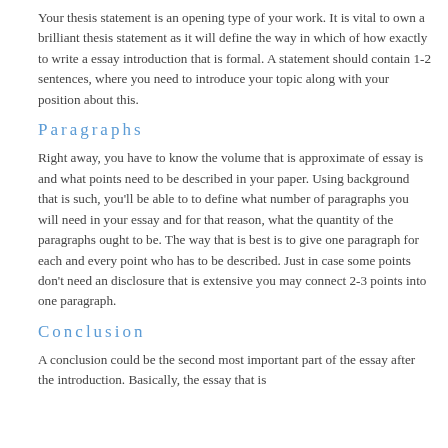Your thesis statement is an opening type of your work. It is vital to own a brilliant thesis statement as it will define the way in which of how exactly to write a essay introduction that is formal. A statement should contain 1-2 sentences, where you need to introduce your topic along with your position about this.
Paragraphs
Right away, you have to know the volume that is approximate of essay is and what points need to be described in your paper. Using background that is such, you'll be able to to define what number of paragraphs you will need in your essay and for that reason, what the quantity of the paragraphs ought to be. The way that is best is to give one paragraph for each and every point who has to be described. Just in case some points don't need an disclosure that is extensive you may connect 2-3 points into one paragraph.
Conclusion
A conclusion could be the second most important part of the essay after the introduction. Basically, the essay that is